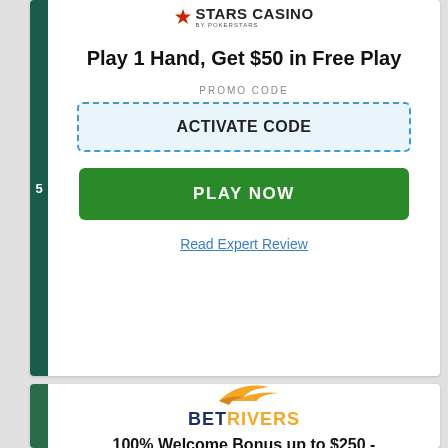[Figure (logo): Stars Casino by PokerStars logo with red spade icon]
Play 1 Hand, Get $50 in Free Play
PROMO CODE
ACTIVATE CODE
PLAY NOW
Read Expert Review
[Figure (logo): BetRivers logo with orange swoosh graphic]
100% Welcome Bonus up to $250 -